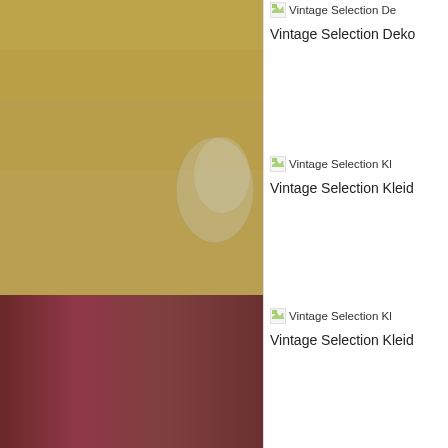[Figure (photo): Large product photo on the left half of the page showing what appears to be furniture or storage box with olive/tan colored wall above and mauve/brownish-red colored lower section, against a beige background. A small transparent bag is visible at the upper right of the photo.]
[Figure (other): Broken image placeholder icon labeled 'Vintage Selection De...' (truncated) — top of right sidebar]
Vintage Selection Deko
[Figure (other): Broken image placeholder icon labeled 'Vintage Selection Kl...' (truncated)]
Vintage Selection Kleid
[Figure (other): Broken image placeholder icon labeled 'Vintage Selection Kl...' (truncated)]
Vintage Selection Kleid